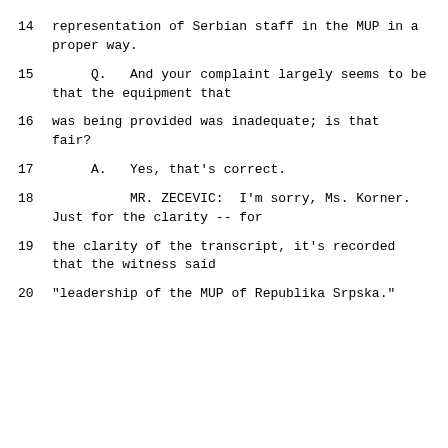14    representation of Serbian staff in the MUP in a proper way.
15    Q.   And your complaint largely seems to be that the equipment that
16    was being provided was inadequate; is that fair?
17    A.   Yes, that's correct.
18         MR. ZECEVIC:  I'm sorry, Ms. Korner. Just for the clarity -- for
19    the clarity of the transcript, it's recorded that the witness said
20    "leadership of the MUP of Republika Srpska."